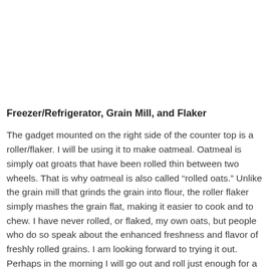Freezer/Refrigerator, Grain Mill, and Flaker
The gadget mounted on the right side of the counter top is a roller/flaker. I will be using it to make oatmeal. Oatmeal is simply oat groats that have been rolled thin between two wheels. That is why oatmeal is also called “rolled oats.” Unlike the grain mill that grinds the grain into flour, the roller flaker simply mashes the grain flat, making it easier to cook and to chew. I have never rolled, or flaked, my own oats, but people who do so speak about the enhanced freshness and flavor of freshly rolled grains. I am looking forward to trying it out. Perhaps in the morning I will go out and roll just enough for a bowl of oatmeal to go with some of the strawberries I